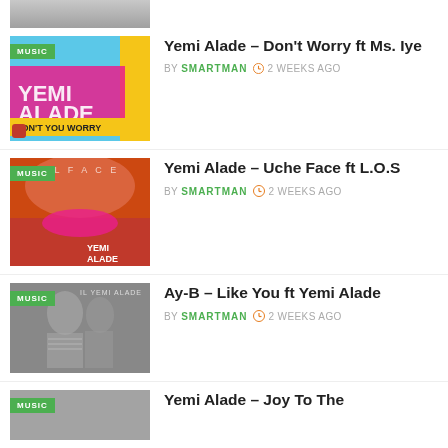[Figure (photo): Partial top crop of a music thumbnail image]
Yemi Alade – Don't Worry ft Ms. Iye
BY SMARTMAN  2 WEEKS AGO
Yemi Alade – Uche Face ft L.O.S
BY SMARTMAN  2 WEEKS AGO
Ay-B – Like You ft Yemi Alade
BY SMARTMAN  2 WEEKS AGO
Yemi Alade – Joy To The